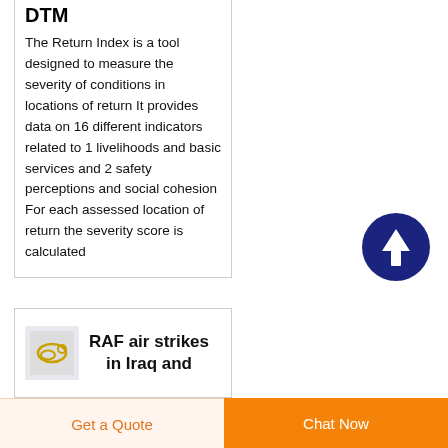DTM
The Return Index is a tool designed to measure the severity of conditions in locations of return It provides data on 16 different indicators related to 1 livelihoods and basic services and 2 safety perceptions and social cohesion For each assessed location of return the severity score is calculated
[Figure (other): Dark navy blue circle with white upward-pointing arrow icon — scroll-to-top button]
RAF air strikes in Iraq and
Get a Quote   Chat Now